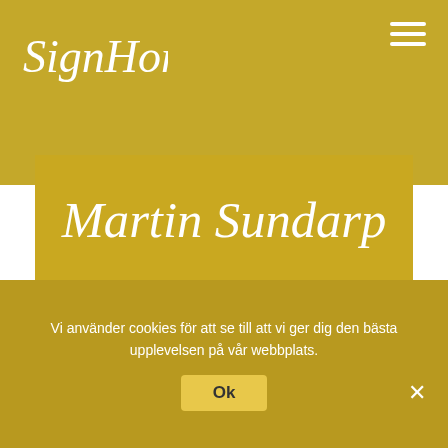[Figure (logo): SignHome cursive script logo in white on gold background, top left]
[Figure (other): Hamburger menu icon (three white horizontal lines) in top right]
Martin Sundarp
Fastighetsmäklare
Signhome

0790-232330
martin@signhome.se
[Figure (logo): SignHome circular logo, partially visible at bottom of gold card]
Vi använder cookies för att se till att vi ger dig den bästa upplevelsen på vår webbplats.
Ok